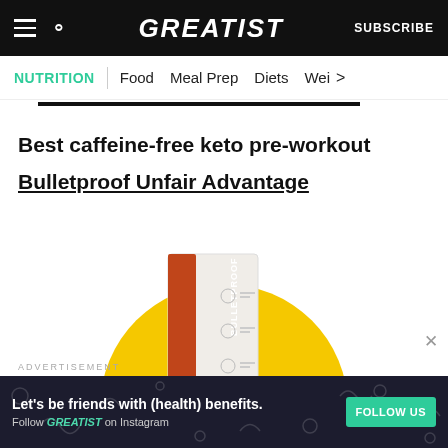GREATIST | SUBSCRIBE
NUTRITION | Food | Meal Prep | Diets | Wei >
Best caffeine-free keto pre-workout
Bulletproof Unfair Advantage
[Figure (photo): Bulletproof Unfair Advantage product package on a yellow semicircle background]
ADVERTISEMENT
Let's be friends with (health) benefits. Follow GREATIST on Instagram FOLLOW US